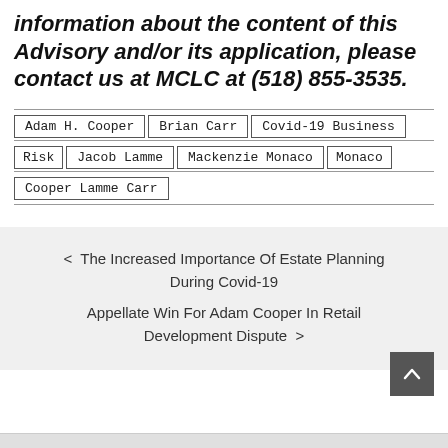information about the content of this Advisory and/or its application, please contact us at MCLC at (518) 855-3535.
| Adam H. Cooper | Brian Carr | Covid-19 Business |
| Risk | Jacob Lamme | Mackenzie Monaco | Monaco |
| Cooper Lamme Carr |  |  |  |
< The Increased Importance Of Estate Planning During Covid-19
Appellate Win For Adam Cooper In Retail Development Dispute >